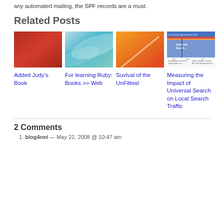any automated mailing, the SPF records are a must.
Related Posts
[Figure (photo): Red textured square thumbnail]
Added Judy's Book
[Figure (photo): Blue and teal wave abstract thumbnail]
For learning Ruby: Books >> Web
[Figure (photo): Orange gradient abstract thumbnail]
Suvival of the UnFittest
[Figure (screenshot): Chart thumbnail showing % of Total Google Referred Traffic with area chart]
Measuring the Impact of Universal Search on Local Search Traffic
2 Comments
1. blog4net — May 22, 2008 @ 10:47 am